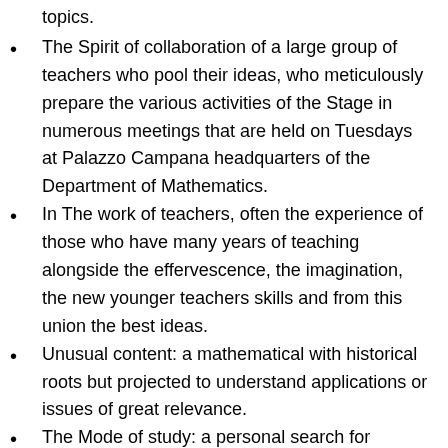topics.
The Spirit of collaboration of a large group of teachers who pool their ideas, who meticulously prepare the various activities of the Stage in numerous meetings that are held on Tuesdays at Palazzo Campana headquarters of the Department of Mathematics.
In The work of teachers, often the experience of those who have many years of teaching alongside the effervescence, the imagination, the new younger teachers skills and from this union the best ideas.
Unusual content: a mathematical with historical roots but projected to understand applications or issues of great relevance.
The Mode of study: a personal search for meaning on a track barely sketched by a working file prepared by the teachers and renewed annually.
The Support to the reasoning given by the concrete materials